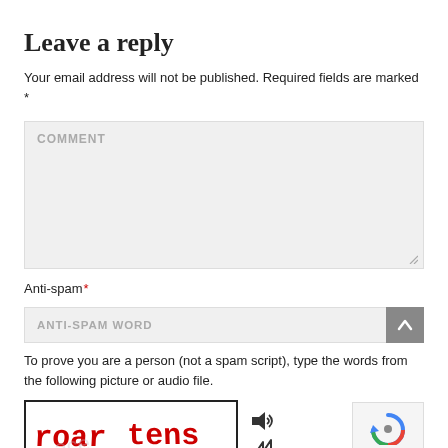Leave a reply
Your email address will not be published. Required fields are marked *
[Figure (screenshot): Comment text area form field with placeholder text COMMENT and resize handle]
Anti-spam*
[Figure (screenshot): Anti-spam word input field with placeholder ANTI-SPAM WORD and a grey arrow-up button]
To prove you are a person (not a spam script), type the words from the following picture or audio file.
[Figure (screenshot): CAPTCHA image showing the text 'roar tens' in red handwritten style letters with audio and refresh icons beside it, and a reCAPTCHA badge on the right]